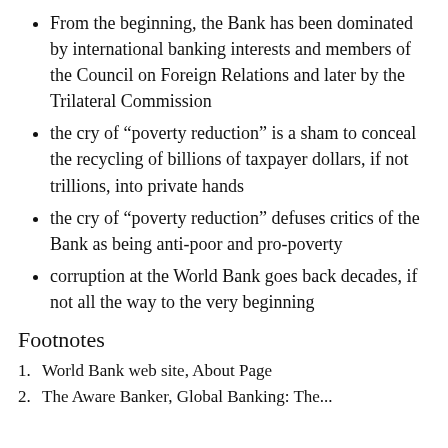From the beginning, the Bank has been dominated by international banking interests and members of the Council on Foreign Relations and later by the Trilateral Commission
the cry of “poverty reduction” is a sham to conceal the recycling of billions of taxpayer dollars, if not trillions, into private hands
the cry of “poverty reduction” defuses critics of the Bank as being anti-poor and pro-poverty
corruption at the World Bank goes back decades, if not all the way to the very beginning
Footnotes
1. World Bank web site, About Page
2. The Aware Banker, Global Banking: The...